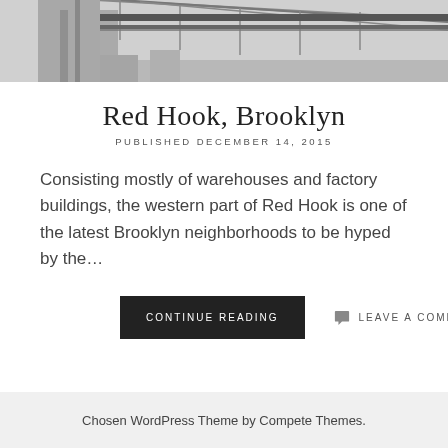[Figure (photo): Black and white photograph of warehouse or industrial building with metal scaffolding/framework structure visible against the sky]
Red Hook, Brooklyn
PUBLISHED DECEMBER 14, 2015
Consisting mostly of warehouses and factory buildings, the western part of Red Hook is one of the latest Brooklyn neighborhoods to be hyped by the…
CONTINUE READING
LEAVE A COMMENT
Chosen WordPress Theme by Compete Themes.